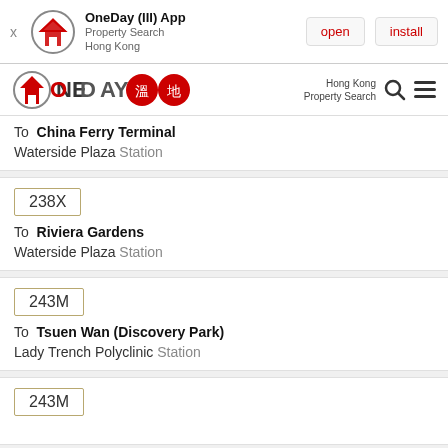[Figure (screenshot): App install banner for OneDay (III) App - Property Search Hong Kong, with open and install buttons]
[Figure (logo): OneDay logo with Chinese characters and search icon navigation bar]
To China Ferry Terminal
Waterside Plaza Station
238X
To Riviera Gardens
Waterside Plaza Station
243M
To Tsuen Wan (Discovery Park)
Lady Trench Polyclinic Station
243M